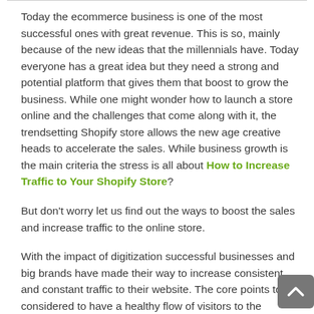Today the ecommerce business is one of the most successful ones with great revenue. This is so, mainly because of the new ideas that the millennials have. Today everyone has a great idea but they need a strong and potential platform that gives them that boost to grow the business. While one might wonder how to launch a store online and the challenges that come along with it, the trendsetting Shopify store allows the new age creative heads to accelerate the sales. While business growth is the main criteria the stress is all about How to Increase Traffic to Your Shopify Store?
But don't worry let us find out the ways to boost the sales and increase traffic to the online store.
With the impact of digitization successful businesses and big brands have made their way to increase consistent and constant traffic to their website. The core points to be considered to have a healthy flow of visitors to the website are: